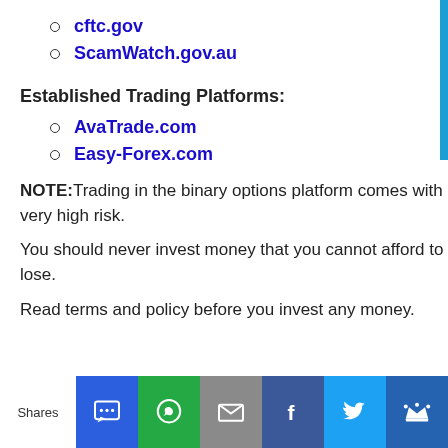cftc.gov
ScamWatch.gov.au
Established Trading Platforms:
AvaTrade.com
Easy-Forex.com
NOTE: Trading in the binary options platform comes with a very high risk.
You should never invest money that you cannot afford to lose.
Read terms and policy before you invest any money.